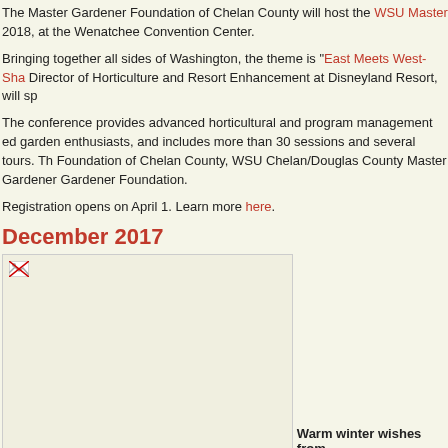The Master Gardener Foundation of Chelan County will host the WSU Master 2018, at the Wenatchee Convention Center.
Bringing together all sides of Washington, the theme is "East Meets West-Sha Director of Horticulture and Resort Enhancement at Disneyland Resort, will sp
The conference provides advanced horticultural and program management ed garden enthusiasts, and includes more than 30 sessions and several tours. Th Foundation of Chelan County, WSU Chelan/Douglas County Master Gardener Gardener Foundation.
Registration opens on April 1. Learn more here.
December 2017
[Figure (photo): A placeholder image (broken image icon) representing a December 2017 photo.]
Warm winter wishes from
"As another successful year in GAUNDS comes to a close, I hope you find tim